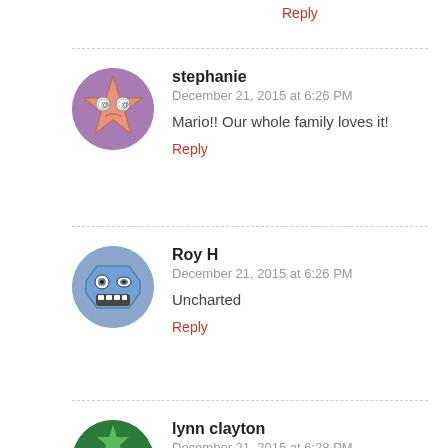Reply
stephanie
December 21, 2015 at 6:26 PM
Mario!! Our whole family loves it!
Reply
Roy H
December 21, 2015 at 6:26 PM
Uncharted
Reply
lynn clayton
December 21, 2015 at 6:28 PM
i love mario and grand turismo